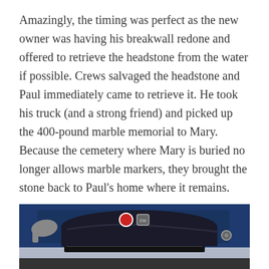Amazingly, the timing was perfect as the new owner was having his breakwall redone and offered to retrieve the headstone from the water if possible. Crews salvaged the headstone and Paul immediately came to retrieve it. He took his truck (and a strong friend) and picked up the 400-pound marble memorial to Mary. Because the cemetery where Mary is buried no longer allows marble markers, they brought the stone back to Paul’s home where it remains.
[Figure (photo): Photo of a blue vehicle with a dark tarp/cover draped over something in the truck bed or on the hood, with a gloved hand visible on the left side. Stickers visible on the vehicle front.]